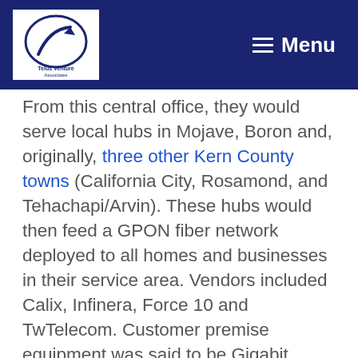Telus Venture Associates — Menu
From this central office, they would serve local hubs in Mojave, Boron and, originally, three other Kern County towns (California City, Rosamond, and Tehachapi/Arvin). These hubs would then feed a GPON fiber network deployed to all homes and businesses in their service area. Vendors included Calix, Infinera, Force 10 and TwTelecom. Customer premise equipment was said to be Gigabit capable.
Pricing ranged from $15 per month for 1 Mbps up/down for residential customers all